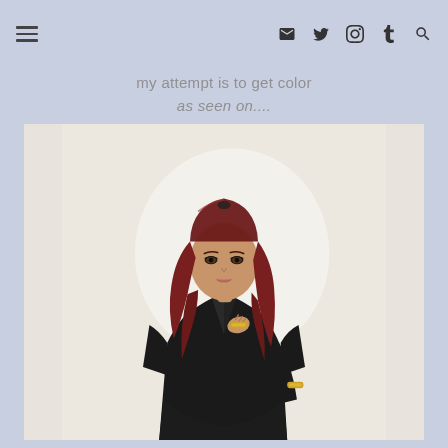Navigation bar with hamburger menu and social/utility icons (email, twitter, instagram, tumblr, search)
my attempt is to get color
as seen on....
[Figure (photo): Young Asian woman with long wavy red/auburn hair, wearing a black blazer/dress and gold bracelet accessories, posed against a light background in a professional photo shoot style.]